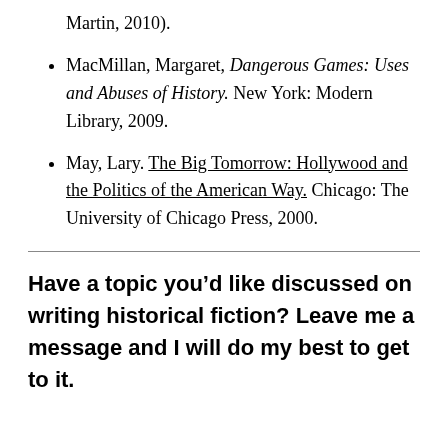Martin, 2010).
MacMillan, Margaret, Dangerous Games: Uses and Abuses of History. New York: Modern Library, 2009.
May, Lary. The Big Tomorrow: Hollywood and the Politics of the American Way. Chicago: The University of Chicago Press, 2000.
Have a topic you’d like discussed on writing historical fiction? Leave me a message and I will do my best to get to it.